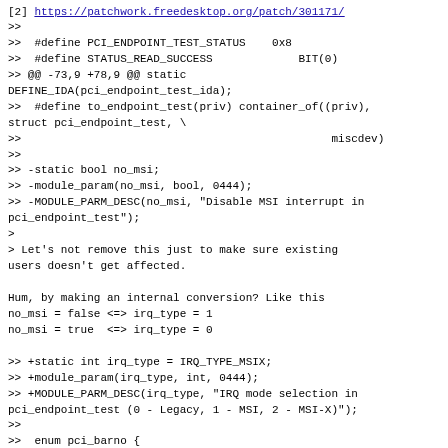[2]  https://patchwork.freedesktop.org/patch/301171/
>>
>>  #define PCI_ENDPOINT_TEST_STATUS    0x8
>>  #define STATUS_READ_SUCCESS             BIT(0)
>> @@ -73,9 +78,9 @@ static DEFINE_IDA(pci_endpoint_test_ida);
>>  #define to_endpoint_test(priv) container_of((priv), struct pci_endpoint_test, \
>>                                               miscdev)
>>
>> -static bool no_msi;
>> -module_param(no_msi, bool, 0444);
>> -MODULE_PARM_DESC(no_msi, "Disable MSI interrupt in pci_endpoint_test");
>
> Let's not remove this just to make sure existing users doesn't get affected.

Hum, by making an internal conversion? Like this
no_msi = false <=> irq_type = 1
no_msi = true  <=> irq_type = 0

>> +static int irq_type = IRQ_TYPE_MSIX;
>> +module_param(irq_type, int, 0444);
>> +MODULE_PARM_DESC(irq_type, "IRQ mode selection in pci_endpoint_test (0 - Legacy, 1 - MSI, 2 - MSI-X)");
>>
>>  enum pci_barno {
>>       BAR_0,
>> @@ -103,7 +108,7 @@ struct pci_endpoint_test {